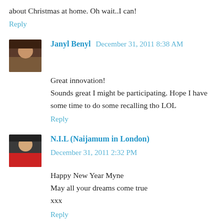about Christmas at home. Oh wait..I can!
Reply
Janyl Benyl  December 31, 2011 8:38 AM
Great innovation!
Sounds great I might be participating. Hope I have some time to do some recalling tho LOL
Reply
N.I.L (Naijamum in London)  December 31, 2011 2:32 PM
Happy New Year Myne
May all your dreams come true
xxx
Reply
Nikkisho  January 01, 2012 1:55 AM
Happy new year Ms myne!